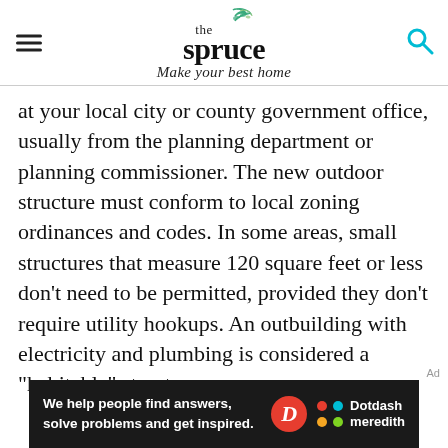the spruce — Make your best home
at your local city or county government office, usually from the planning department or planning commissioner. The new outdoor structure must conform to local zoning ordinances and codes. In some areas, small structures that measure 120 square feet or less don't need to be permitted, provided they don't require utility hookups. An outbuilding with electricity and plumbing is considered a "habitable" structure.
[Figure (logo): Dotdash Meredith advertisement banner: 'We help people find answers, solve problems and get inspired.' with Dotdash Meredith logo]